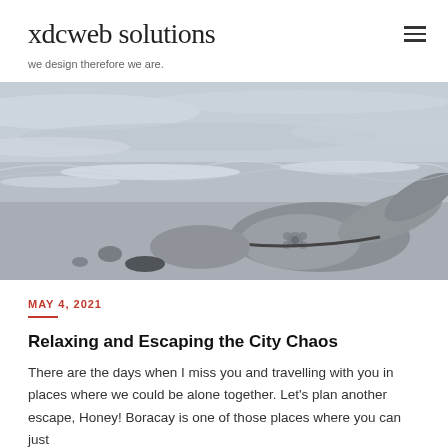xdcweb solutions
we design therefore we are.
[Figure (photo): Black and white photo of a person lying on a sandy beach near ocean waves, wearing a bikini bottom with a floral design, legs raised.]
MAY 4, 2021
Relaxing and Escaping the City Chaos
There are the days when I miss you and travelling with you in places where we could be alone together. Let's plan another escape, Honey! Boracay is one of those places where you can just